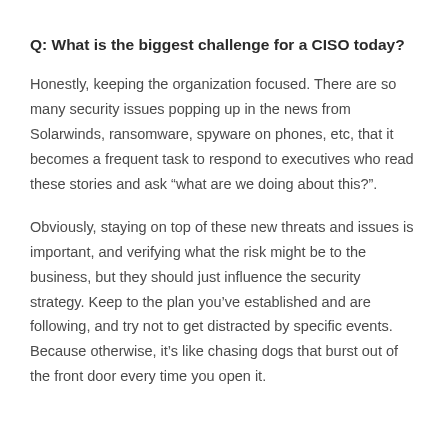Q: What is the biggest challenge for a CISO today?
Honestly, keeping the organization focused. There are so many security issues popping up in the news from Solarwinds, ransomware, spyware on phones, etc, that it becomes a frequent task to respond to executives who read these stories and ask “what are we doing about this?”.
Obviously, staying on top of these new threats and issues is important, and verifying what the risk might be to the business, but they should just influence the security strategy. Keep to the plan you’ve established and are following, and try not to get distracted by specific events.  Because otherwise, it’s like chasing dogs that burst out of the front door every time you open it.